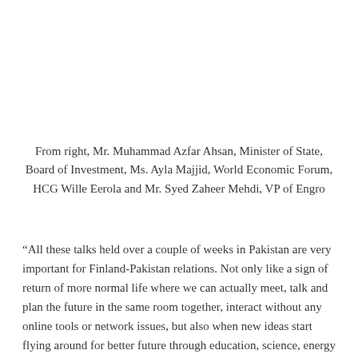From right, Mr. Muhammad Azfar Ahsan, Minister of State, Board of Investment, Ms. Ayla Majjid, World Economic Forum, HCG Wille Eerola and Mr. Syed Zaheer Mehdi, VP of Engro
“All these talks held over a couple of weeks in Pakistan are very important for Finland-Pakistan relations. Not only like a sign of return of more normal life where we can actually meet, talk and plan the future in the same room together, interact without any online tools or network issues, but also when new ideas start flying around for better future through education, science, energy or growing trade. Let’s get ready for 2022!”, HCG Wille Eerola summarized his first tour and visit in Pakistan